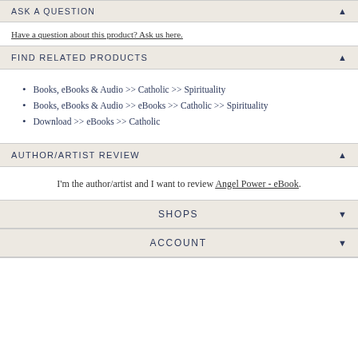ASK A QUESTION ▲
Have a question about this product? Ask us here.
FIND RELATED PRODUCTS ▲
Books, eBooks & Audio >> Catholic >> Spirituality
Books, eBooks & Audio >> eBooks >> Catholic >> Spirituality
Download >> eBooks >> Catholic
AUTHOR/ARTIST REVIEW ▲
I'm the author/artist and I want to review Angel Power - eBook.
SHOPS ▼
ACCOUNT ▼